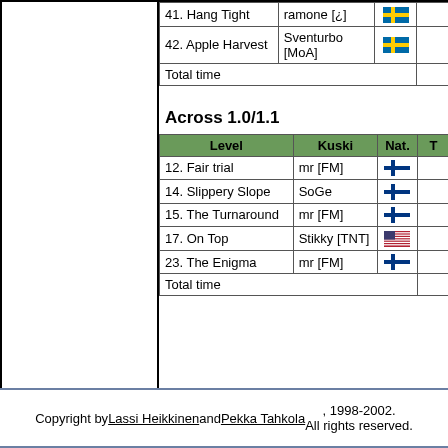| 41. Hang Tight | ramone [¿] | [SE flag] |  |
| 42. Apple Harvest | Sventurbo [MoA] | [SE flag] |  |
| Total time |  |  |  |
Across 1.0/1.1
| Level | Kuski | Nat. | T |
| --- | --- | --- | --- |
| 12. Fair trial | mr [FM] | [FI flag] |  |
| 14. Slippery Slope | SoGe | [FI flag] |  |
| 15. The Turnaround | mr [FM] | [FI flag] |  |
| 17. On Top | Stikky [TNT] | [US flag] |  |
| 23. The Enigma | mr [FM] | [FI flag] |  |
| Total time |  |  |  |
Copyright by Lassi Heikkinen and Pekka Tahkola, 1998-2002. All rights reserved.